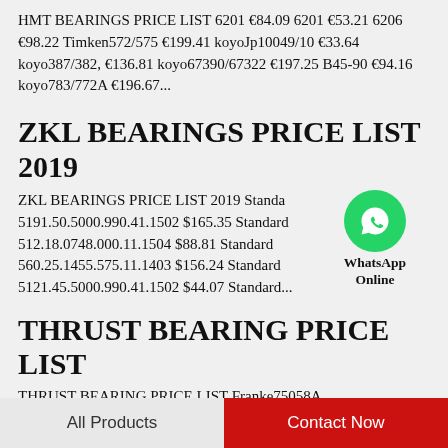HMT BEARINGS PRICE LIST 6201 €84.09 6201 €53.21 6206 €98.22 Timken572/575 €199.41 koyoJp10049/10 €33.64 koyo387/382, €136.81 koyo67390/67322 €197.25 B45-90 €94.16 koyo783/772A €196.67...
ZKL BEARINGS PRICE LIST 2019
ZKL BEARINGS PRICE LIST 2019 Standard 5191.50.5000.990.41.1502 $165.35 Standard 512.18.0748.000.11.1504 $88.81 Standard 560.25.1455.575.11.1403 $156.24 Standard 5121.45.5000.990.41.1502 $44.07 Standard...
[Figure (logo): WhatsApp green circle icon with phone handset, labeled WhatsApp Online]
THRUST BEARING PRICE LIST
THRUST BEARING PRICE LIST Franke75058A
All Products   Contact Now